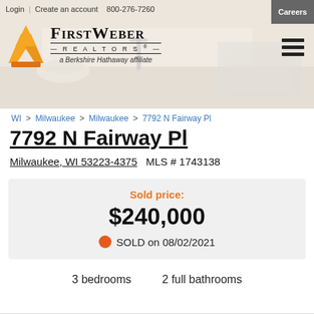Login | Create an account  800-276-7260  Careers
[Figure (logo): FirstWeber Realtors - a Berkshire Hathaway affiliate logo with orange house/triangles icon, over a kitchen background photo]
WI > Milwaukee > Milwaukee > 7792 N Fairway Pl
7792 N Fairway Pl
Milwaukee, WI 53223-4375   MLS # 1743138
Sold price: $240,000 SOLD on 08/02/2021
3 bedrooms   2 full bathrooms